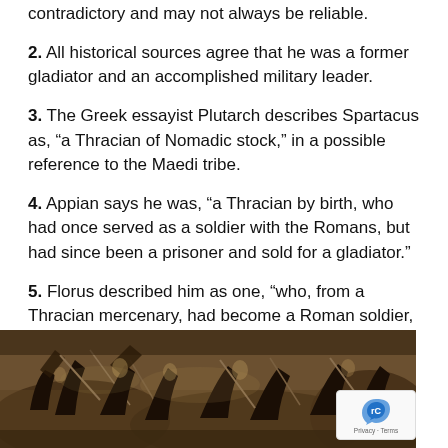contradictory and may not always be reliable.
2. All historical sources agree that he was a former gladiator and an accomplished military leader.
3. The Greek essayist Plutarch describes Spartacus as, “a Thracian of Nomadic stock,” in a possible reference to the Maedi tribe.
4. Appian says he was, “a Thracian by birth, who had once served as a soldier with the Romans, but had since been a prisoner and sold for a gladiator.”
5. Florus described him as one, “who, from a Thracian mercenary, had become a Roman soldier, that had deserted and became enslaved, and afterward, from consideration of his strength, a gladiator.”
[Figure (illustration): A sepia-toned historical engraving depicting a battle scene with soldiers fighting, swords raised, in a dramatic ancient combat scene.]